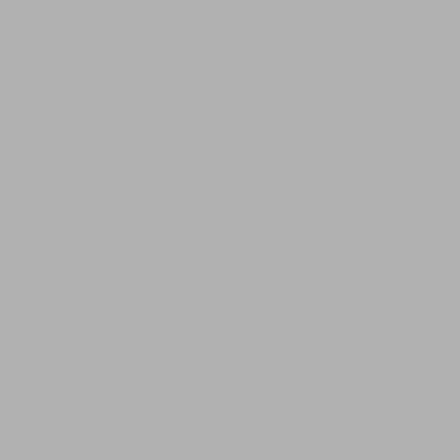>> Next:
Broyeur à Marteaux Saller En Tanzanie
[Figure (illustration): Live Chat banner with workers in yellow hard hats, 'LIVE CHAT' title in red, 'Click for a Free Consultation' subtitle, 'Chat now' red button and 'Chat later' dark button]
[Figure (illustration): Right side panel showing '24/7 hour online' header in orange with female headset agent photo and 'Click to chat' orange button below]
[Figure (illustration): Enquiry panel with brown/orange background showing 'Enquiry' header and 'mumumugoods@gmail.com' email]
Lorsque nous recevrons votre demande, nous vous enverrons par courrier électronique dans les 24 heures les catalogues personnalisés, tables de prix, les conditions de livraison, les conditions de paiement et les autres informations nécessaires.